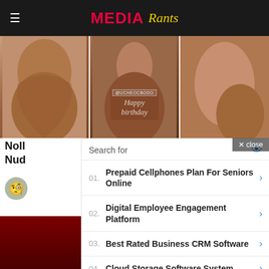MEDIA Rants
[Figure (photo): Three image panels showing people, center panel has birthday overlay with @UCHEOCBODO and 'Happy birthday' text]
× close
Noll Nud
[Figure (other): User avatar icon with glasses emoji]
[Figure (infographic): Search ad overlay with 5 sponsored search results: 01. Prepaid Cellphones Plan For Seniors Online, 02. Digital Employee Engagement Platform, 03. Best Rated Business CRM Software, 04. Cloud Storage Software System, 05. Employee Engagement Platform Online]
Yahoo! Search | Sponsored